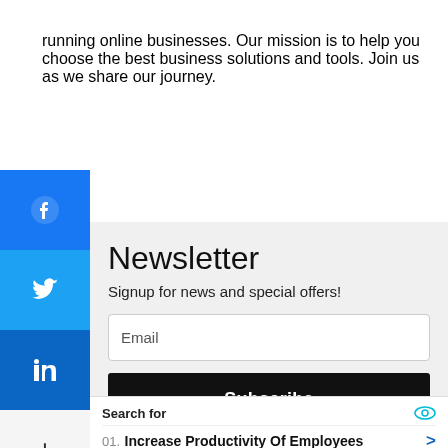running online businesses. Our mission is to help you choose the best business solutions and tools. Join us as we share our journey.
Newsletter
Signup for news and special offers!
Email
Subscribe
Search for
01. Increase Productivity Of Employees
02. How To Increase Productivity
Yahoo! Search | Sponsored